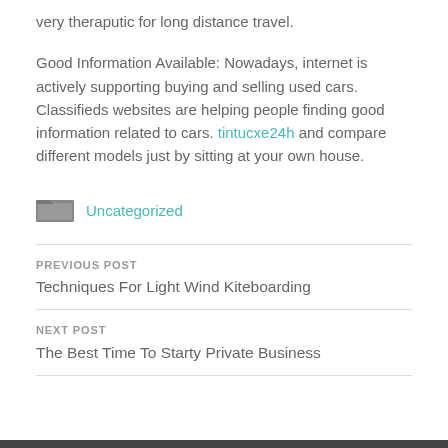very theraputic for long distance travel.
Good Information Available: Nowadays, internet is actively supporting buying and selling used cars. Classifieds websites are helping people finding good information related to cars. tintucxe24h and compare different models just by sitting at your own house.
Uncategorized
PREVIOUS POST
Techniques For Light Wind Kiteboarding
NEXT POST
The Best Time To Starty Private Business